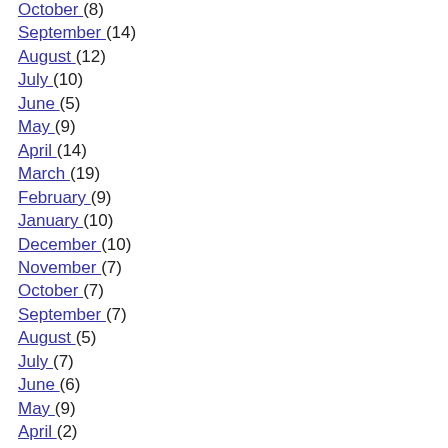October (8)
September (14)
August (12)
July (10)
June (5)
May (9)
April (14)
March (19)
February (9)
January (10)
December (10)
November (7)
October (7)
September (7)
August (5)
July (7)
June (6)
May (9)
April (2)
March (7)
February (5)